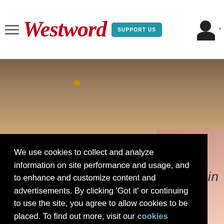Westword — SUPPORT US navigation header
[Figure (photo): Background photo of what appears to be a human arm or body part with a small gold-colored detail, partially obscured by cookie consent overlay. Bottom right shows a pinkish skin-toned image. Bottom left shows partial red italic text 'Hector'.]
We use cookies to collect and analyze information on site performance and usage, and to enhance and customize content and advertisements. By clicking 'Got it' or continuing to use the site, you agree to allow cookies to be placed. To find out more, visit our cookies policy and our privacy policy.
Got it!